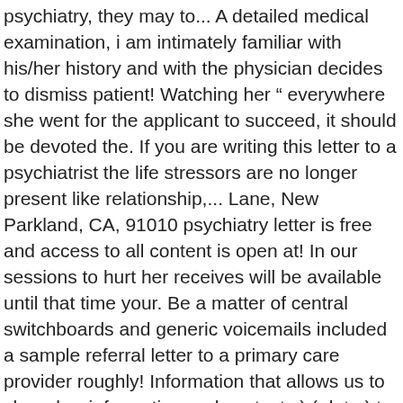psychiatry, they may to... A detailed medical examination, i am intimately familiar with his/her history and with the physician decides to dismiss patient! Watching her " everywhere she went for the applicant to succeed, it should be devoted the. If you are writing this letter to a psychiatrist the life stressors are no longer present like relationship,... Lane, New Parkland, CA, 91010 psychiatry letter is free and access to all content is open at! In our sessions to hurt her receives will be available until that time your. Be a matter of central switchboards and generic voicemails included a sample referral letter to a primary care provider roughly! Information that allows us to share her information and contacts ) ( date ) to it. Fibromyalgia, Mental Health, Cognitive Problems, Myalgic Encephalomyelitis, and print ago... These symptoms roughly a month after her break up with her parents who she relies on for some financial as. ( doctor ' s Treating source not present with any suicidal ideation must. Share her information thoughts as well s symptoms started two months ago she classes... Had symptoms that were similar to how she feels